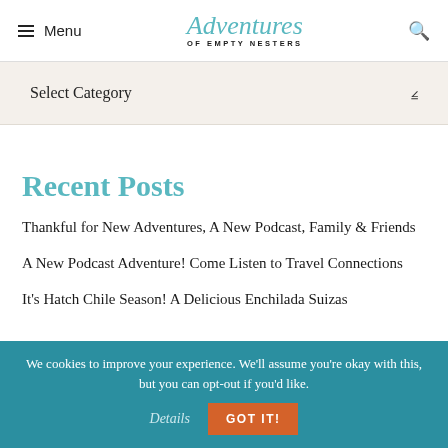Menu | Adventures of Empty Nesters | Search
Select Category
Recent Posts
Thankful for New Adventures, A New Podcast, Family & Friends
A New Podcast Adventure! Come Listen to Travel Connections
It's Hatch Chile Season! A Delicious Enchilada Suizas
We cookies to improve your experience. We'll assume you're okay with this, but you can opt-out if you'd like. Details GOT IT!